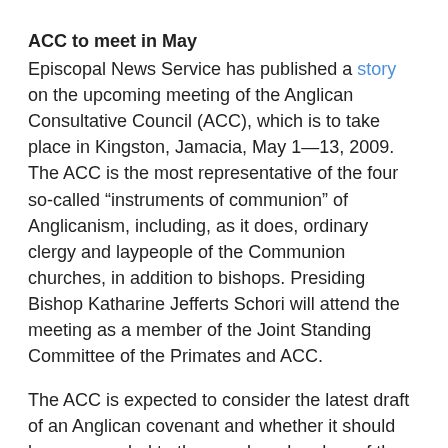ACC to meet in May
Episcopal News Service has published a story on the upcoming meeting of the Anglican Consultative Council (ACC), which is to take place in Kingston, Jamacia, May 1—13, 2009. The ACC is the most representative of the four so-called “instruments of communion” of Anglicanism, including, as it does, ordinary clergy and laypeople of the Communion churches, in addition to bishops. Presiding Bishop Katharine Jefferts Schori will attend the meeting as a member of the Joint Standing Committee of the Primates and ACC.
The ACC is expected to consider the latest draft of an Anglican covenant and whether it should be commended to the member churches of the Communion for their approval. According to ENS, the Covenant Design Group, which met in Cambridge, England, March 30–April 3, is expected to issue a revised covenant draft sometime this week. The Presiding Bishop suggested in October that, should the ACC put forward a new draft for adoption, the 2009 General Convention should not act on the matter, as there will be insufficient time to consider the draft covenant before the